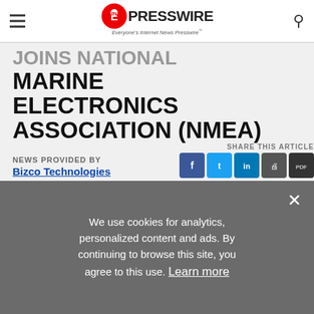EINPresswire — Everyone's Internet News Presswire
JOINS NATIONAL MARINE ELECTRONICS ASSOCIATION (NMEA)
NEWS PROVIDED BY
Bizco Technologies
July 07, 2020, 16:08 GMT
SHARE THIS ARTICLE
We use cookies for analytics, personalized content and ads. By continuing to browse this site, you agree to this use. Learn more